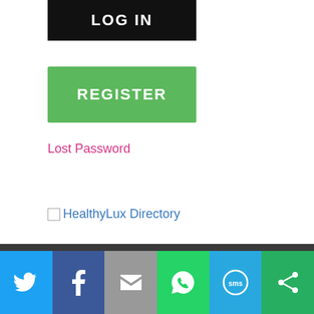[Figure (screenshot): Black LOG IN button]
[Figure (screenshot): Green REGISTER button]
Lost Password
[Figure (screenshot): HealthyLux Directory broken image icon with link text]
Activities for Children
Activities for Dads
[Figure (infographic): Social share bar with Twitter, Facebook, Email, WhatsApp, SMS, and Other icons]